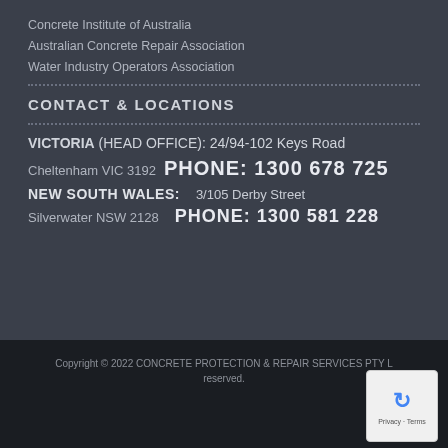Concrete Institute of Australia
Australian Concrete Repair Association
Water Industry Operators Association
CONTACT & LOCATIONS
VICTORIA (HEAD OFFICE): 24/94-102 Keys Road
Cheltenham VIC 3192   PHONE: 1300 678 725
NEW SOUTH WALES:   3/105 Derby Street
Silverwater NSW 2128   PHONE: 1300 581 228
Copyright © 2022 CONCRETE PROTECTION & REPAIR SERVICES PTY L... reserved.